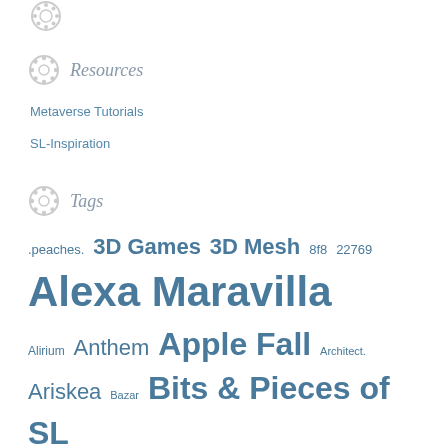Resources
Metaverse Tutorials
SL-Inspiration
Tags
.peaches. 3D Games 3D Mesh 8f8 22769 Alexa Maravilla Alirium Anthem Apple Fall Architect. Ariskea Bazar Bits & Pieces of SL Blogger Botanical Collabor88 DaD DaD Virtual Living Decor Digital Photography DRD Dust Bunny Equal10 FaMESHed Fancy Decor FINCA Foxwood